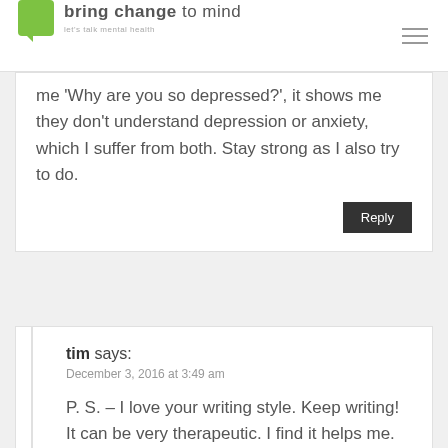bring change to mind — let's talk mental health
me 'Why are you so depressed?', it shows me they don't understand depression or anxiety, which I suffer from both. Stay strong as I also try to do.
Reply
tim says:
December 3, 2016 at 3:49 am
P. S. – I love your writing style. Keep writing! It can be very therapeutic. I find it helps me.